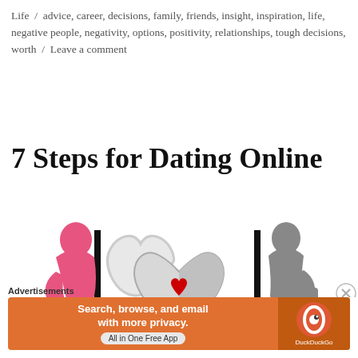Life / advice, career, decisions, family, friends, insight, inspiration, life, negative people, negativity, options, positivity, relationships, tough decisions, worth / Leave a comment
7 Steps for Dating Online
[Figure (illustration): Illustration of online dating: a pink female silhouette sitting at a computer on the left, a red heart in the center with a small heart inside, a red @ symbol below the heart, and a gray male silhouette sitting at a computer on the right. Two black monitor/desk shapes flank the central heart.]
Advertisements
[Figure (other): DuckDuckGo advertisement banner with orange background. Text: Search, browse, and email with more privacy. All in One Free App. DuckDuckGo logo on the right.]